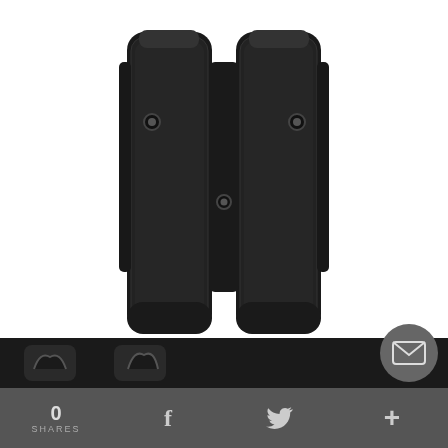[Figure (photo): Black nylon double magazine pouch product photo, viewed from front, showing dual pouches side by side with snap hardware]
Nylon Double Mag Pouch - It. F804
$39
★★★★★ (8)
0 SHARES   f   (twitter bird)   +